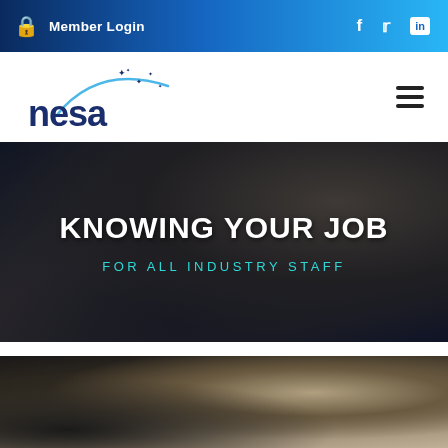Member Login
[Figure (logo): NESA logo with arc and stars above text 'nesa']
KNOWING YOUR JOB
FOR ALL INDUSTRY STAFF
[Figure (photo): Person typing on laptop keyboard, viewed from above]